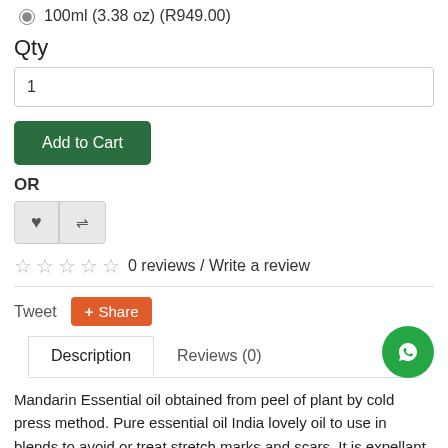100ml (3.38 oz) (R949.00)
Qty
1
Add to Cart
OR
0 reviews / Write a review
Tweet
Share
Description
Reviews (0)
Mandarin Essential oil obtained from peel of plant by cold press method. Pure essential oil India lovely oil to use in blends to avoid or treat stretch marks and scars. It is expellant for aging and